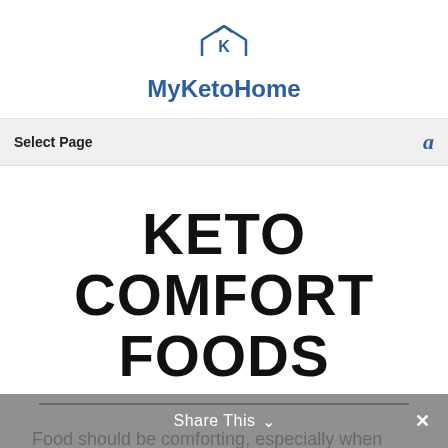[Figure (logo): MyKetoHome logo: a house outline with a K inside, above the text MyKetoHome in bold blue]
Select Page   a
KETO COMFORT FOODS
Food should be comforting, especially when you're seriously needing some comfort and
Share This ∨  ×